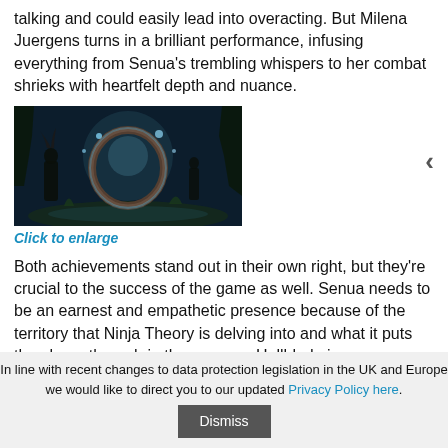talking and could easily lead into overacting. But Milena Juergens turns in a brilliant performance, infusing everything from Senua's trembling whispers to her combat shrieks with heartfelt depth and nuance.
[Figure (screenshot): Dark fantasy video game screenshot showing a character near a circular stone arch structure in a shadowy forest environment with blue lighting effects]
Click to enlarge
Both achievements stand out in their own right, but they're crucial to the success of the game as well. Senua needs to be an earnest and empathetic presence because of the territory that Ninja Theory is delving into and what it puts the player through in the process. Hellblade is a
In line with recent changes to data protection legislation in the UK and Europe we would like to direct you to our updated Privacy Policy here. Dismiss